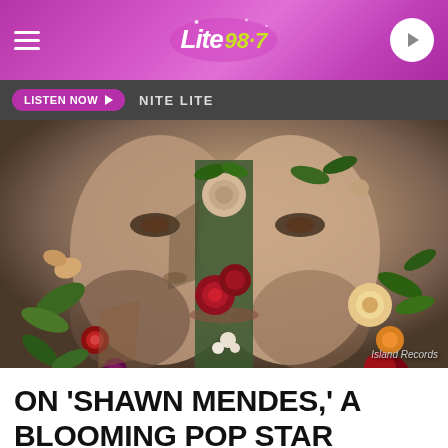Lite 98.7 — radio station header with logo, hamburger menu, and play button
LISTEN NOW  NITE LITE
[Figure (photo): Album cover art for Shawn Mendes self-titled album showing a young man's face overlaid with collaged floral elements — roses, tropical leaves, small flowers in red, white, and yellow — creating a split/mosaic face effect on a neutral background. Credit: Island Records.]
ON 'SHAWN MENDES,' A BLOOMING POP STAR FINALLY